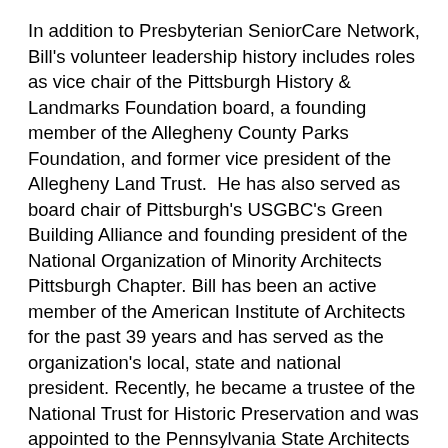In addition to Presbyterian SeniorCare Network, Bill's volunteer leadership history includes roles as vice chair of the Pittsburgh History & Landmarks Foundation board, a founding member of the Allegheny County Parks Foundation, and former vice president of the Allegheny Land Trust.  He has also served as board chair of Pittsburgh's USGBC's Green Building Alliance and founding president of the National Organization of Minority Architects Pittsburgh Chapter. Bill has been an active member of the American Institute of Architects for the past 39 years and has served as the organization's local, state and national president. Recently, he became a trustee of the National Trust for Historic Preservation and was appointed to the Pennsylvania State Architects Licensure Board.
Jim Pieffer, President & CEO of Presbyterian SeniorCare Network, is looking forward to working will Bill in this role.
“As I complete my first full year as president, it’s encouraging to have someone like Bill as board chair,” Pieffer said. “We’ve been blessed with so many wonderful